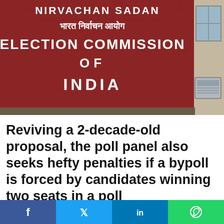[Figure (photo): Photograph of the Election Commission of India building sign on a red brick wall, reading 'NIRVACHAN SADAN / भारत निर्वाचन आयोग / ELECTION COMMISSION OF INDIA' in white letters. A window and AC unit visible on the right side.]
Reviving a 2-decade-old proposal, the poll panel also seeks hefty penalties if a bypoll is forced by candidates winning two seats in a poll
Almost twenty years ago, the Election Commission of India (ECI) had set forth the